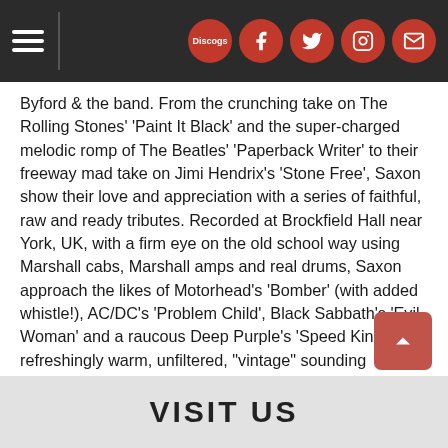[Navigation bar with hamburger menu and social icons: Discogs, Facebook, Twitter, Instagram, Email]
Byford & the band. From the crunching take on The Rolling Stones' 'Paint It Black' and the super-charged melodic romp of The Beatles' 'Paperback Writer' to their freeway mad take on Jimi Hendrix's 'Stone Free', Saxon show their love and appreciation with a series of faithful, raw and ready tributes. Recorded at Brockfield Hall near York, UK, with a firm eye on the old school way using Marshall cabs, Marshall amps and real drums, Saxon approach the likes of Motorhead's 'Bomber' (with added whistle!), AC/DC's 'Problem Child', Black Sabbath's 'Evil Woman' and a raucous Deep Purple's 'Speed King' with refreshingly warm, unfiltered, "vintage" sounding renditions. Byford takes on some new vocal challenges, which he duly smashes on the likes of Thin Lizzy's 'The Rocker'. Saxon do a supreme job of entertaining both themselves and their audience throughout Inspirations. For even more proof of the validity behind that statement, wrap your ears around their sparkling take on Toto's 'Hold The Line' and consider Saxon's Inspirations a mission accomplished.
VISIT US